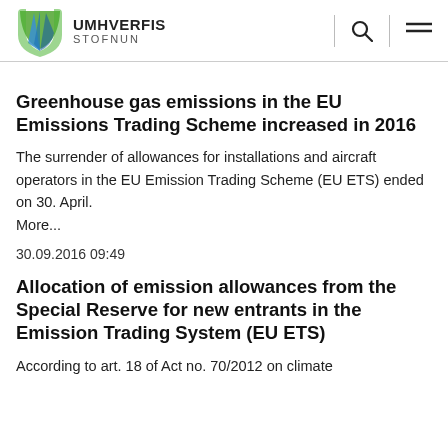UMHVERFIS STOFNUN
Greenhouse gas emissions in the EU Emissions Trading Scheme increased in 2016
The surrender of allowances for installations and aircraft operators in the EU Emission Trading Scheme (EU ETS) ended on 30. April.
More...
30.09.2016 09:49
Allocation of emission allowances from the Special Reserve for new entrants in the Emission Trading System (EU ETS)
According to art. 18 of Act no. 70/2012 on climate